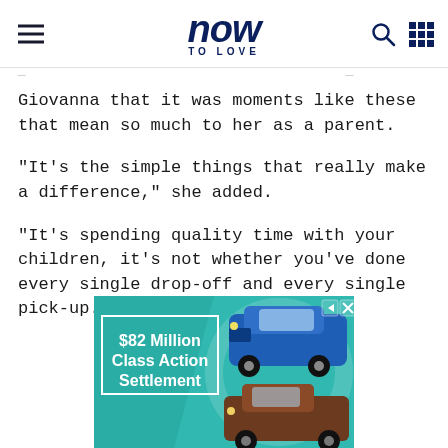now TO LOVE
Giovanna that it was moments like these that mean so much to her as a parent.
"It's the simple things that really make a difference," she added.
"It's spending quality time with your children, it's not whether you've done every single drop-off and every single pick-up."
[Figure (screenshot): Advertisement banner: '$82 Million Class Action Settlement' with teal background and images of a blue Volkswagen car and a brown Volkswagen pickup truck]